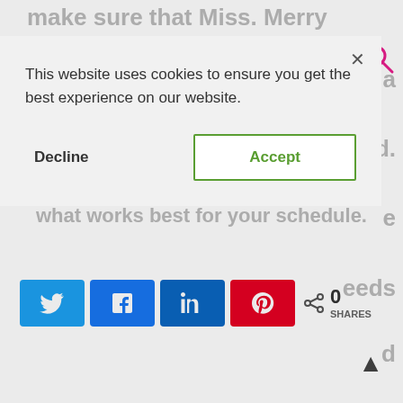make sure that Miss. Merry Berry's teaching
ed.
e
eeds
d
This website uses cookies to ensure you get the best experience on our website.
Decline
Accept
what works best for your schedule.
0 SHARES